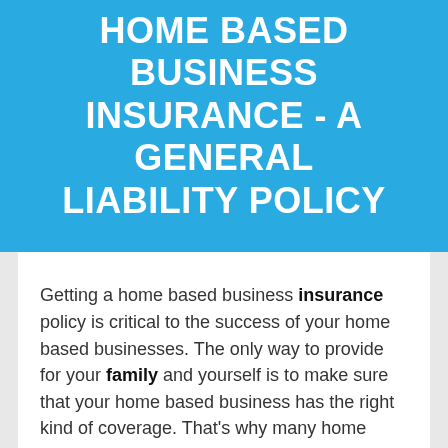HOME BASED BUSINESS INSURANCE - A GENERAL LIABILITY POLICY
Getting a home based business insurance policy is critical to the success of your home based businesses. The only way to provide for your family and yourself is to make sure that your home based business has the right kind of coverage. That's why many home based business owners neglect this aspect of their businesses until disaster strikes. If you neglect getting professional liability insurance, then you could be facing a lot of lost time, money and potential customers down the road.